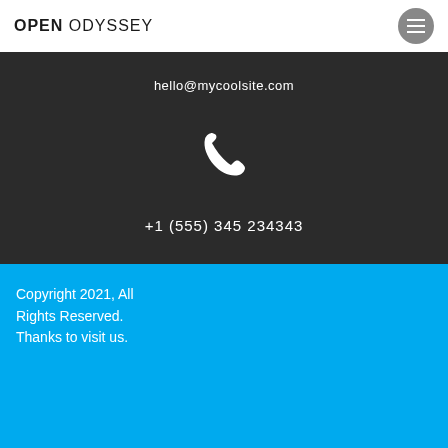OPEN ODYSSEY
hello@mycoolsite.com
[Figure (illustration): White phone handset icon on dark background]
+1 (555) 345 234343
Copyright 2021, All Rights Reserved. Thanks to visit us.